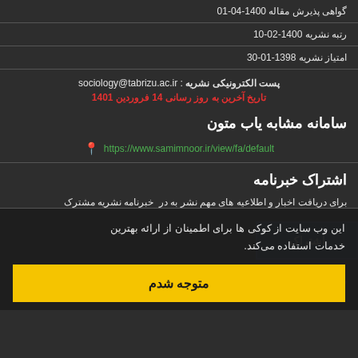گواهی پذیرش مقاله 1400-04-01
رتبه نشریه 1400-02-10
امتیاز نشریه 1398-01-30
پست الکترونیکی نشریه : sociology@tabrizu.ac.ir
تاریخ آخرین به روز رسانی 14 فروردین 1401
سامانه مشابه یاب متون
https://www.samimnoor.ir/view/fa/default
اشتراک خبرنامه
برای دریافت اخبار و اطلاعیه های مهم نشر به در خبرنامه نشریه مشترک
این وب سایت از کوکی ها برای اطمینان از ارائه بهترین خدمات استفاده می‌کند.
متوجه شدم
سامانه مدیریت نشریات علمی. تحت درخواست سیناوب